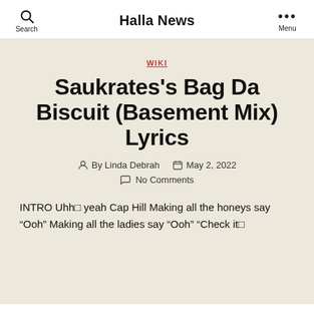Halla News
WIKI
Saukrates's Bag Da Biscuit (Basement Mix) Lyrics
By Linda Debrah   May 2, 2022   No Comments
INTRO Uhh□ yeah Cap Hill Making all the honeys say “Ooh” Making all the ladies say “Ooh” “Check it□